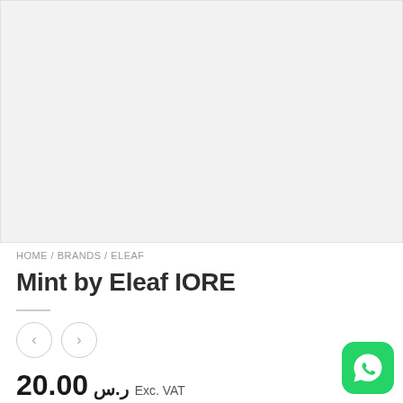[Figure (photo): Product image placeholder — light gray rectangle with no visible product]
HOME / BRANDS / ELEAF
Mint by Eleaf IORE
20.00 ر.س Exc. VAT